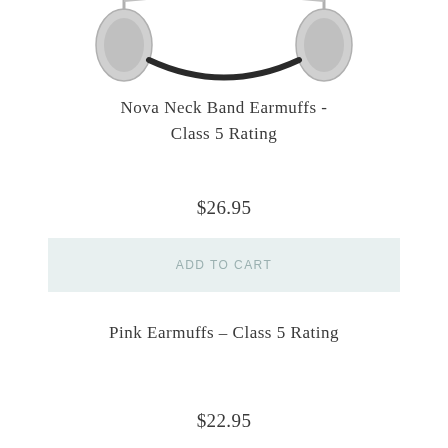[Figure (photo): Partial view of Nova Neck Band Earmuffs product photo, showing the neck band and earcup portions against white background]
Nova Neck Band Earmuffs - Class 5 Rating
$26.95
ADD TO CART
Pink Earmuffs - Class 5 Rating
$22.95